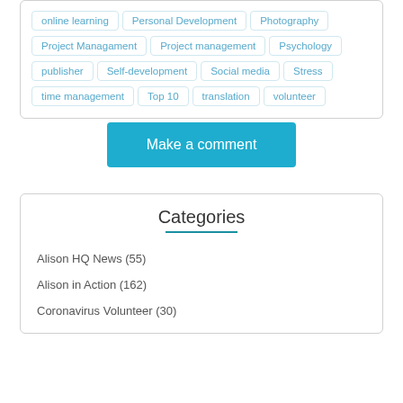online learning
Personal Development
Photography
Project Managament
Project management
Psychology
publisher
Self-development
Social media
Stress
time management
Top 10
translation
volunteer
Make a comment
Categories
Alison HQ News (55)
Alison in Action (162)
Coronavirus Volunteer (30)